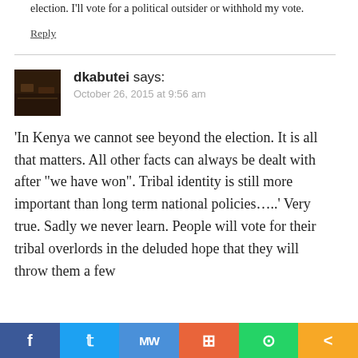election. I'll vote for a political outsider or withhold my vote.
Reply
[Figure (photo): Avatar/profile photo thumbnail showing a dark interior bar or restaurant scene]
dkabutei says:
October 26, 2015 at 9:56 am
'In Kenya we cannot see beyond the election. It is all that matters. All other facts can always be dealt with after “we have won”. Tribal identity is still more important than long term national policies…..’ Very true. Sadly we never learn. People will vote for their tribal overlords in the deluded hope that they will throw them a few
[Figure (infographic): Social share bar with buttons: Facebook (blue), Twitter (light blue), MeWe (blue), Mix (orange), WhatsApp (green), Share (orange)]